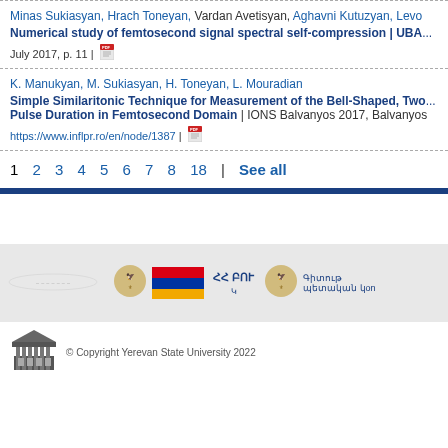Minas Sukiasyan, Hrach Toneyan, Vardan Avetisyan, Aghavni Kutuzyan, Levo...
Numerical study of femtosecond signal spectral self-compression | UBA... July 2017, p. 11 | [pdf]
K. Manukyan, M. Sukiasyan, H. Toneyan, L. Mouradian
Simple Similaritonic Technique for Measurement of the Bell-Shaped, Two... Pulse Duration in Femtosecond Domain | IONS Balvanyos 2017, Balvanyos... https://www.inflpr.ro/en/node/1387 | [pdf]
1 2 3 4 5 6 7 8 18 | See all
[Figure (illustration): Armenian banner with coat of arms, flag, ՀՀ ԲՈՒ text and Գիտութ... պետական կոn... text]
[Figure (logo): Yerevan State University building logo]
© Copyright Yerevan State University 2022